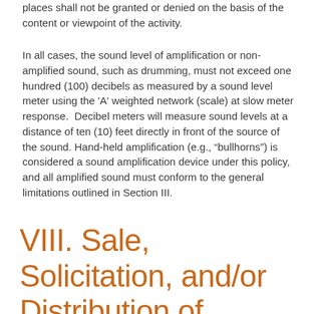places shall not be granted or denied on the basis of the content or viewpoint of the activity.
In all cases, the sound level of amplification or non-amplified sound, such as drumming, must not exceed one hundred (100) decibels as measured by a sound level meter using the 'A' weighted network (scale) at slow meter response.  Decibel meters will measure sound levels at a distance of ten (10) feet directly in front of the source of the sound. Hand-held amplification (e.g., “bullhorns”) is considered a sound amplification device under this policy, and all amplified sound must conform to the general limitations outlined in Section III.
VIII. Sale, Solicitation, and/or Distribution of Merchandise.